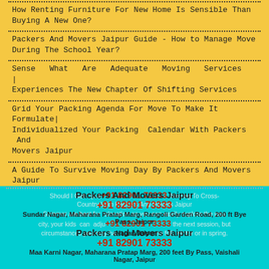How Renting Furniture For New Home Is Sensible Than Buying A New One?
Packers And Movers Jaipur Guide - How to Manage Move During The School Year?
Sense What Are Adequate Moving Services | Experiences The New Chapter Of Shifting Services
Grid Your Packing Agenda For Move To Make It Formulate| Individualized Your Packing Calendar With Packers And Movers Jaipur
A Guide To Survive Moving Day By Packers And Movers Jaipur
Packers And Movers Jaipur
+91 82901 73333
Sundar Nagar, Maharana Pratap Marg, Rangoli Garden Road, 200 ft Bye Pass, Jaipur
Packers and Movers Jaipur
+91 82901 73333
Maa Karni Nagar, Maharana Pratap Marg, 200 feet By Pass, Vaishali Nagar, Jaipur
Should I Get-Up-And-Go Moving To Cross-Country With Packers And Movers Jaipur
Summer are best for relocation as you can easily explore the new city, your kids can adjust to the next session, but circumstances you may have moving fall, winter or in spring.